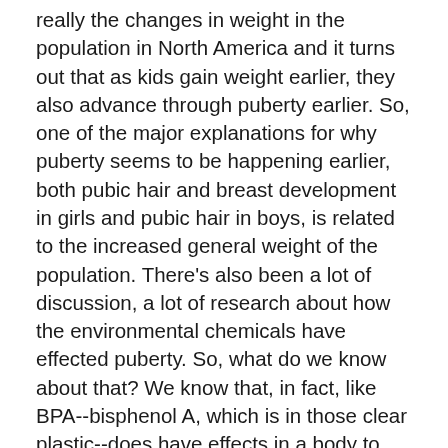really the changes in weight in the population in North America and it turns out that as kids gain weight earlier, they also advance through puberty earlier. So, one of the major explanations for why puberty seems to be happening earlier, both pubic hair and breast development in girls and pubic hair in boys, is related to the increased general weight of the population. There's also been a lot of discussion, a lot of research about how the environmental chemicals have effected puberty. So, what do we know about that? We know that, in fact, like BPA--bisphenol A, which is in those clear plastic--does have effects in a body to act like estrogen, to act like the female hormone, and in animal models, certainly can cause early puberty and probably has some effect in humans but most of that effects probably occur in the fetuses, so in babies before they are born. It's probably not responsible for the earlier age in the general population about why we are seeing earlier breast development or earlier menstrual cycles. We can't say that it's not playing some role but it's certainly not as big of a role as the change in weight in our society.